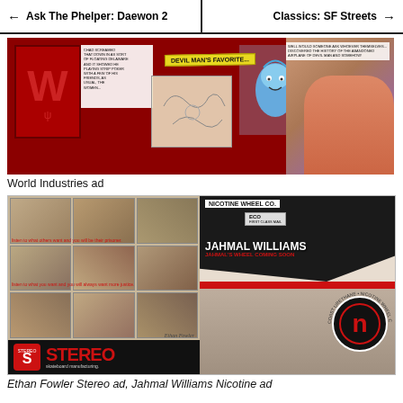Ask The Phelper: Daewon 2 | Classics: SF Streets
[Figure (photo): World Industries comic-style advertisement featuring a devil character, cartoon characters, and colorful comic panels on a red background]
World Industries ad
[Figure (photo): Two skateboarding advertisements side by side: Ethan Fowler Stereo skateboard manufacturing ad (grid of skate photos) and Jahmal Williams Nicotine Wheel Company ad]
Ethan Fowler Stereo ad, Jahmal Williams Nicotine ad